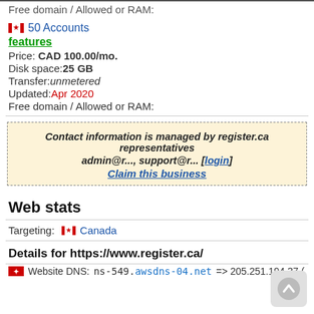Free domain / Allowed or RAM:
🍁 50 Accounts
features
Price: CAD 100.00/mo.
Disk space:25 GB
Transfer:unmetered
Updated:Apr 2020
Free domain / Allowed or RAM:
Contact information is managed by register.ca representatives admin@r..., support@r... [login] Claim this business
Web stats
Targeting: 🍁 Canada
Details for https://www.register.ca/
Website DNS: ns-549.awsdns-04.net => 205.251.194.37 (